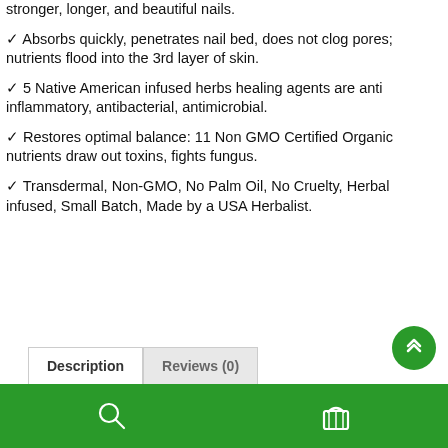stronger, longer, and beautiful nails.
✓ Absorbs quickly, penetrates nail bed, does not clog pores; nutrients flood into the 3rd layer of skin.
✓ 5 Native American infused herbs healing agents are anti inflammatory, antibacterial, antimicrobial.
✓ Restores optimal balance: 11 Non GMO Certified Organic nutrients draw out toxins, fights fungus.
✓ Transdermal, Non-GMO, No Palm Oil, No Cruelty, Herbal infused, Small Batch, Made by a USA Herbalist.
Description | Reviews (0)
Navigation bar with search and cart icons